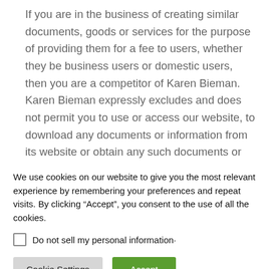If you are in the business of creating similar documents, goods or services for the purpose of providing them for a fee to users, whether they be business users or domestic users, then you are a competitor of Karen Bieman. Karen Bieman expressly excludes and does not permit you to use or access our website, to download any documents or information from its website or obtain any such documents or information.
We use cookies on our website to give you the most relevant experience by remembering your preferences and repeat visits. By clicking “Accept”, you consent to the use of all the cookies.
Do not sell my personal information
Cookie Settings
Accept